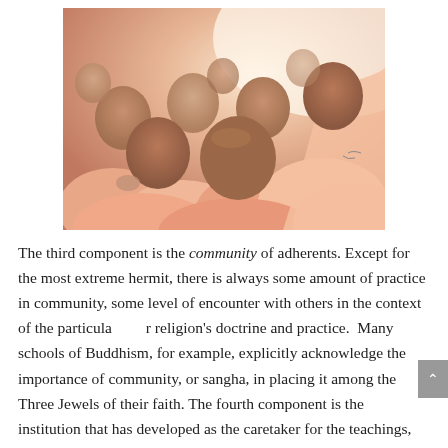[Figure (photo): A group of Buddhist monks or nuns from behind, all with shaved heads, wearing pink robes, gathered together in prayer or study. The image is photographed from behind showing many closely grouped heads.]
The third component is the community of adherents. Except for the most extreme hermit, there is always some amount of practice in community, some level of encounter with others in the context of the particular religion's doctrine and practice.  Many schools of Buddhism, for example, explicitly acknowledge the importance of community, or sangha, in placing it among the Three Jewels of their faith. The fourth component is the institution that has developed as the caretaker for the teachings, the practice, and the